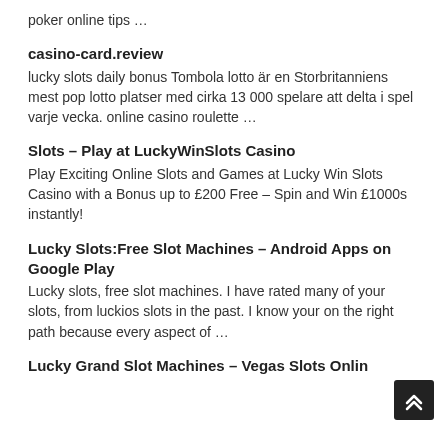poker online tips …
casino-card.review
lucky slots daily bonus Tombola lotto är en Storbritanniens mest pop lotto platser med cirka 13 000 spelare att delta i spel varje vecka. online casino roulette …
Slots – Play at LuckyWinSlots Casino
Play Exciting Online Slots and Games at Lucky Win Slots Casino with a Bonus up to £200 Free – Spin and Win £1000s instantly!
Lucky Slots:Free Slot Machines – Android Apps on Google Play
Lucky slots, free slot machines. I have rated many of your slots, from luckios slots in the past. I know your on the right path because every aspect of …
Lucky Grand Slot Machines – Vegas Slots Online